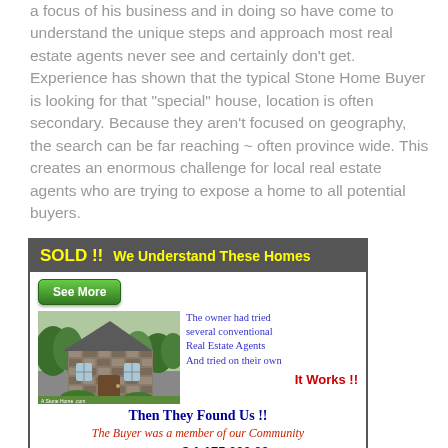a focus of his business and in doing so have come to understand the unique steps and approach most real estate agents never see and certainly don't get. Experience has shown that the typical Stone Home Buyer is looking for that "special" house, location is often secondary. Because they aren't focused on geography, the search can be far reaching ~ often province wide. This creates an enormous challenge for local real estate agents who are trying to expose a home to all potential buyers.
[Figure (infographic): Advertisement box with dark header reading 'SOLD !! We Understand These Homes' in yellow text, a green 'See More' button, a photo of a stone house on the left, cursive blue text on the right reading 'The owner had tried several conventional Real Estate Agents And tried on their own', bold red text 'IT WORKS !!', blue bold text 'THEN THEY FOUND US !!', red italic text 'The Buyer was a member of our Community', and blue text 'Offered At $ 1,175,000.00']